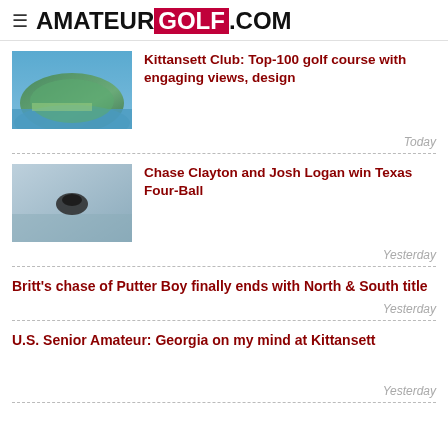AMATEUR GOLF.COM
[Figure (photo): Aerial view of Kittansett Club golf course on a peninsula surrounded by water]
Kittansett Club: Top-100 golf course with engaging views, design
Today
[Figure (photo): Blurry outdoor photo with a dark bird silhouette in center]
Chase Clayton and Josh Logan win Texas Four-Ball
Yesterday
Britt's chase of Putter Boy finally ends with North & South title
Yesterday
U.S. Senior Amateur: Georgia on my mind at Kittansett
Yesterday